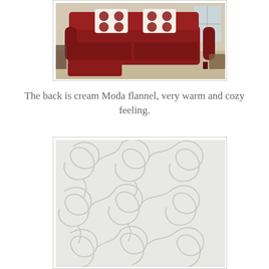[Figure (photo): A red/crimson sofa with decorative quilted pillows (cream with red circular pattern) and a matching red ottoman, in a home living room setting.]
The back is cream Moda flannel, very warm and cozy feeling.
[Figure (photo): Close-up of cream/white quilted fabric with swirling decorative stitch patterns.]